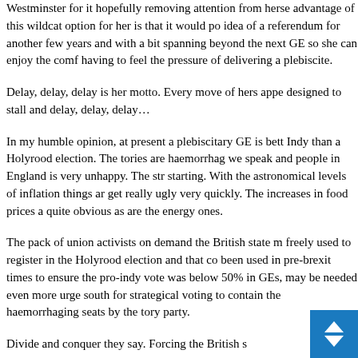Westminster for it hopefully removing attention from herse... advantage of this wildcat option for her is that it would po... idea of a referendum for another few years and with a bit... spanning beyond the next GE so she can enjoy the comf... having to feel the pressure of delivering a plebiscite.
Delay, delay, delay is her motto. Every move of hers appe... designed to stall and delay, delay, delay…
In my humble opinion, at present a plebiscitary GE is bett... Indy than a Holyrood election. The tories are haemorrhag... we speak and people in England is very unhappy. The str... starting. With the astronomical levels of inflation things ar... get really ugly very quickly. The increases in food prices a... quite obvious as are the energy ones.
The pack of union activists on demand the British state m... freely used to register in the Holyrood election and that co... been used in pre-brexit times to ensure the pro-indy vote... was below 50% in GEs, may be needed even more urgen... south for strategical voting to contain the haemorrhaging... seats by the tory party.
Divide and conquer they say. Forcing the British s...